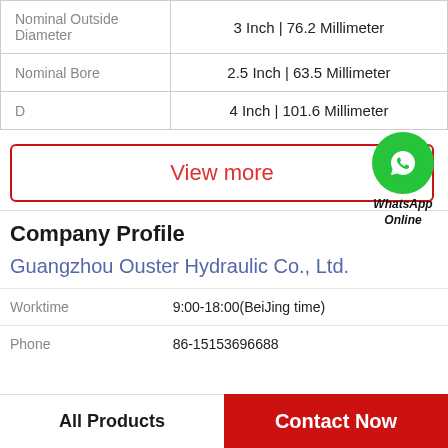| Property | Value |
| --- | --- |
| Nominal Outside Diameter | 3 Inch | 76.2 Millimeter |
| Nominal Bore | 2.5 Inch | 63.5 Millimeter |
| D | 4 Inch | 101.6 Millimeter |
View more
[Figure (illustration): WhatsApp Online green circle icon with phone handset symbol and text 'WhatsApp Online']
Company Profile
Guangzhou Ouster Hydraulic Co., Ltd.
Worktime   9:00-18:00(BeiJing time)
Phone   86-15153696688
All Products   Contact Now